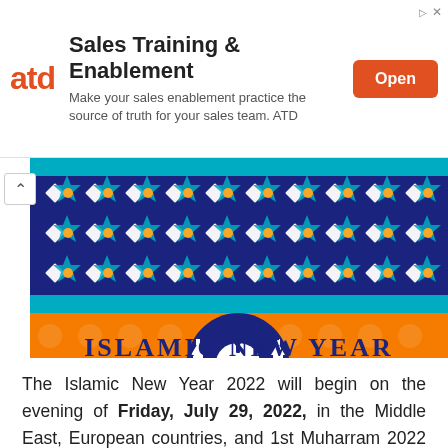[Figure (screenshot): ATD advertisement banner: orange ATD logo on left, 'Sales Training & Enablement' heading with subtext, orange Open button on right, ad label and X icon top right.]
[Figure (illustration): Islamic geometric tile pattern in dark blue, teal, white and orange/yellow. Below it a mosque silhouette icon in dark navy with 'ISLAMIC NEW YEAR' text in dark navy.]
The Islamic New Year 2022 will begin on the evening of Friday, July 29, 2022, in the Middle East, European countries, and 1st Muharram 2022 will be observed on 30th July 2022 in Pakistan, India, and other Asian